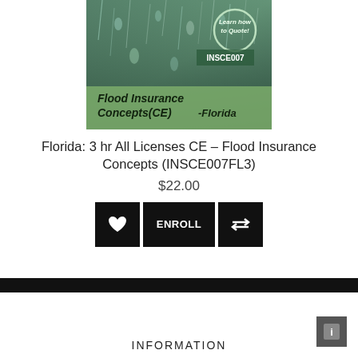[Figure (photo): Flood Insurance Concepts(CE) -Florida course thumbnail image showing rain on glass with circular badge reading 'Learn how to Quote!' and label 'INSCE007']
Florida: 3 hr All Licenses CE - Flood Insurance Concepts (INSCE007FL3)
$22.00
[Figure (infographic): Three black buttons: heart/favorite icon, ENROLL button, and compare/transfer icon]
INFORMATION